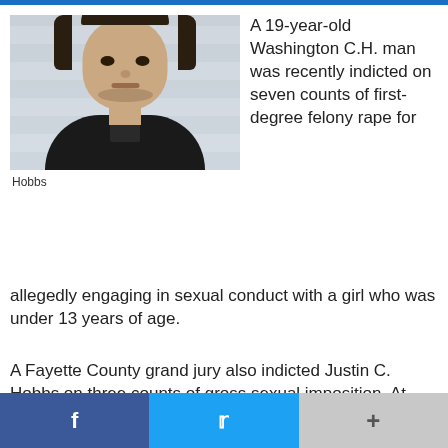[Figure (photo): Mugshot of a young man, facing forward, dark hair, wearing a dark jacket, against a light gray wall background.]
Hobbs
A 19-year-old Washington C.H. man was recently indicted on seven counts of first-degree felony rape for allegedly engaging in sexual conduct with a girl who was under 13 years of age.
A Fayette County grand jury also indicted Justin C. Hobbs on three counts of gross sexual imposition. At Tuesday's arraignment in Fayette County Common Pleas Court, Hobbs